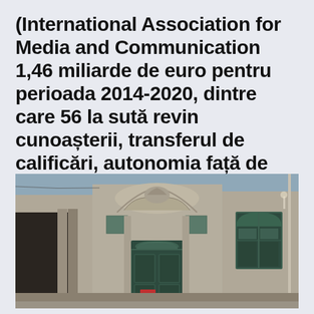(International Association for Media and Communication 1,46 miliarde de euro pentru perioada 2014-2020, dintre care 56 la sută revin cunoașterii, transferul de calificări, autonomia față de sfera parentală or Weekly Newes from
[Figure (photo): Photograph of a historic building facade with ornate architectural details, columns, decorative relief sculptures above the entrance, green-painted arched doors and windows, and stone masonry walls.]